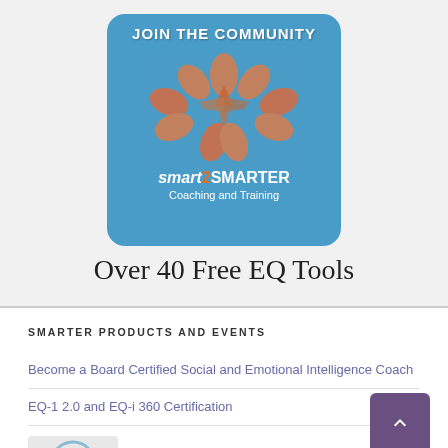[Figure (illustration): Smart2SMARTER Coaching and Training banner with hands forming a circle on blue background, text 'JOIN THE COMMUNITY' at top]
Over 40 Free EQ Tools
SMARTER PRODUCTS AND EVENTS
Become a Board Certified Social and Emotional Intelligence Coach
EQ-1 2.0 and EQ-i 360 Certification
[Figure (logo): Partial logo visible at bottom left]